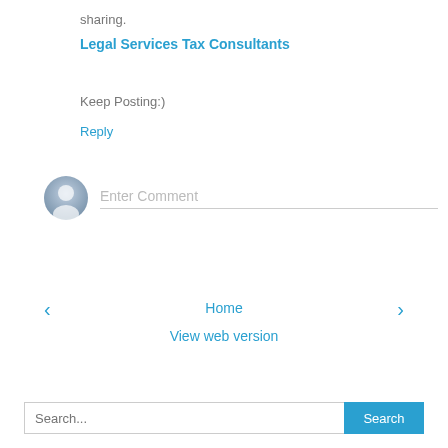sharing.
Legal Services Tax Consultants
Keep Posting:)
Reply
[Figure (illustration): User avatar placeholder icon (grey silhouette circle) next to an 'Enter Comment' text input field with a bottom border line]
Home
View web version
Search...